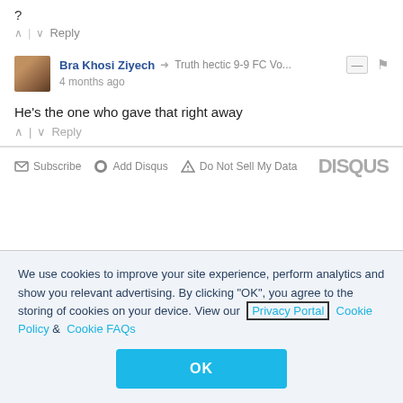?
^ | v  Reply
Bra Khosi Ziyech → Truth hectic 9-9 FC Vo...  4 months ago
He's the one who gave that right away
^ | v  Reply
Subscribe  Add Disqus  Do Not Sell My Data   DISQUS
We use cookies to improve your site experience, perform analytics and show you relevant advertising. By clicking "OK", you agree to the storing of cookies on your device. View our Privacy Portal  Cookie Policy &  Cookie FAQs
OK